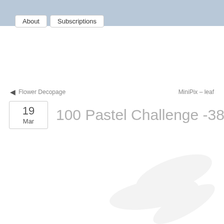About   Subscriptions
◄ Flower Decopage    MiniPix – leaf
100 Pastel Challenge -38, 39 & 40
19 Mar